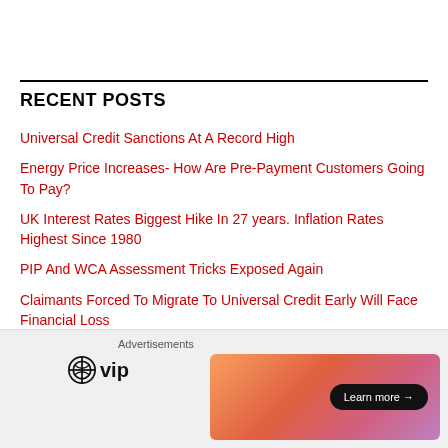RECENT POSTS
Universal Credit Sanctions At A Record High
Energy Price Increases- How Are Pre-Payment Customers Going To Pay?
UK Interest Rates Biggest Hike In 27 years. Inflation Rates Highest Since 1980
PIP And WCA Assessment Tricks Exposed Again
Claimants Forced To Migrate To Universal Credit Early Will Face Financial Loss
[Figure (screenshot): Advertisement bar at bottom with WordPress VIP logo and a colourful banner with Learn more button]